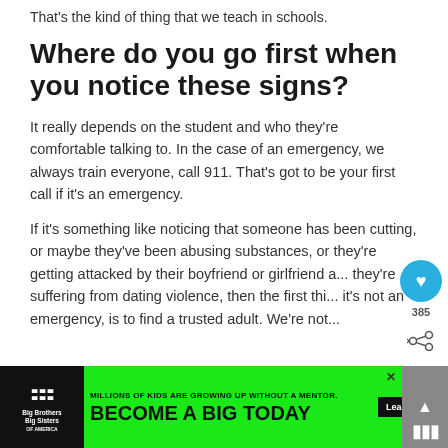That's the kind of thing that we teach in schools.
Where do you go first when you notice these signs?
It really depends on the student and who they're comfortable talking to. In the case of an emergency, we always train everyone, call 911. That's got to be your first call if it's an emergency.
If it's something like noticing that someone has been cutting, or maybe they've been abusing substances, or they're getting attacked by their boyfriend or girlfriend and they're suffering from dating violence, then the first thing, if it's not an emergency, is to find a trusted adult. We're not asking you to be the one to...
[Figure (other): Advertisement banner: Big Brothers Big Sisters logo with text 'MILLIONS OF KIDS ARE GROWING UP WITHOUT A MENTOR. BECOME A BIG TODAY' with 'Learn How' button on green background]